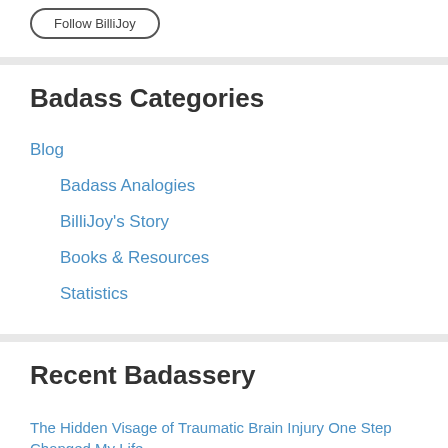[Figure (other): Follow button with rounded rectangle border, partially visible at top]
Badass Categories
Blog
Badass Analogies
BilliJoy's Story
Books & Resources
Statistics
Recent Badassery
The Hidden Visage of Traumatic Brain Injury One Step Changed My Life
Riding a Dragon during a Panic Attack (partial)